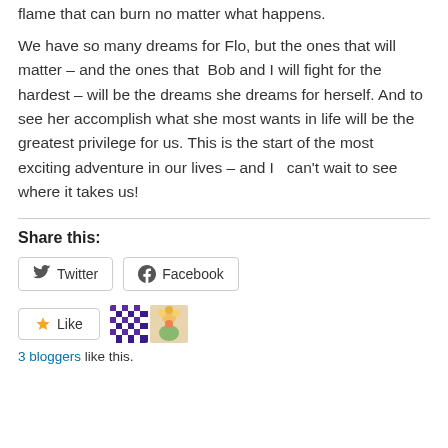flame that can burn no matter what happens.
We have so many dreams for Flo, but the ones that will matter – and the ones that  Bob and I will fight for the hardest – will be the dreams she dreams for herself. And to see her accomplish what she most wants in life will be the greatest privilege for us. This is the start of the most exciting adventure in our lives – and I   can't wait to see where it takes us!
Share this:
[Figure (screenshot): Twitter and Facebook share buttons, a Like button, two blogger avatars, and '3 bloggers like this.' text]